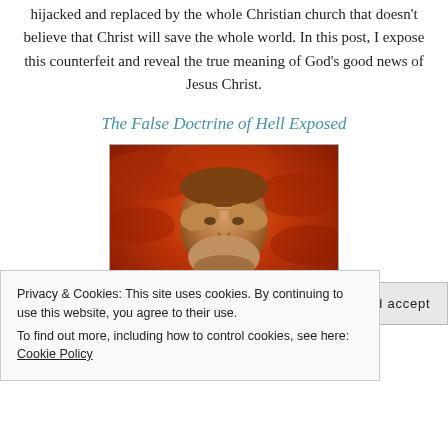The real gospel of Christ has been spiritually hijacked and replaced by the whole Christian church that doesn't believe that Christ will save the whole world. In this post, I expose this counterfeit and reveal the true meaning of God's good news of Jesus Christ.
The False Doctrine of Hell Exposed
[Figure (photo): An anguished elderly man holding his head in his hands against a fiery red/orange sky background, illustrating suffering or hell.]
Privacy & Cookies: This site uses cookies. By continuing to use this website, you agree to their use.
To find out more, including how to control cookies, see here: Cookie Policy
Close and accept